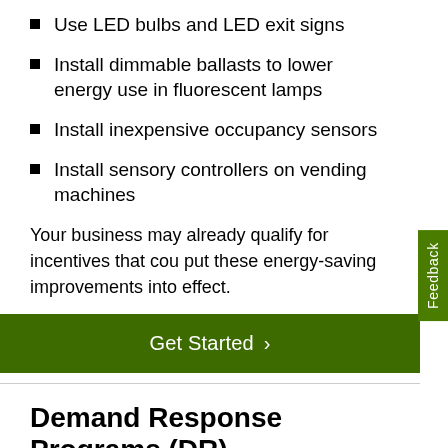Use LED bulbs and LED exit signs
Install dimmable ballasts to lower energy use in fluorescent lamps
Install inexpensive occupancy sensors
Install sensory controllers on vending machines
Your business may already qualify for incentives that could put these energy-saving improvements into effect.
Get Started ›
Demand Response Programs (DR)
With these programs, receive bill credits for temporarily reducing energy use upon request during periods of high-energy demand. Choose the ones that best fit your